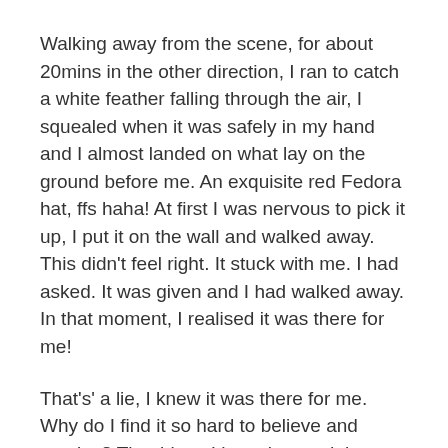Walking away from the scene, for about 20mins in the other direction, I ran to catch a white feather falling through the air, I squealed when it was safely in my hand and I almost landed on what lay on the ground before me. An exquisite red Fedora hat, ffs haha! At first I was nervous to pick it up, I put it on the wall and walked away. This didn't feel right. It stuck with me. I had asked. It was given and I had walked away. In that moment, I realised it was there for me!
That's' a lie, I knew it was there for me. Why do I find it so hard to believe and receive? The things I have lost and that have found a new home, the stuff I have left with people, crystals that were drawn to and left with others. I